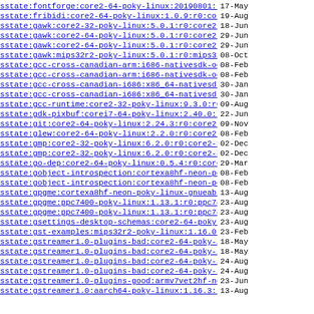sstate:fontforge:core2-64-poky-linux:20190801:r..> 17-May
sstate:fribidi:core2-64-poky-linux:1.0.9:r0:cor..> 19-Aug
sstate:gawk:core2-32-poky-linux:5.0.1:r0:core2-..> 18-Jun
sstate:gawk:core2-64-poky-linux:5.0.1:r0:core2-..> 29-Jun
sstate:gawk:core2-64-poky-linux:5.0.1:r0:core2-..> 29-Jun
sstate:gawk:mips32r2-poky-linux:5.0.1:r0:mips32..> 08-Oct
sstate:gcc-cross-canadian-arm:i686-nativesdk-oe..> 08-Feb
sstate:gcc-cross-canadian-arm:i686-nativesdk-oe..> 08-Feb
sstate:gcc-cross-canadian-i686:x86_64-nativesdk..> 30-Jan
sstate:gcc-cross-canadian-i686:x86_64-nativesdk..> 30-Jan
sstate:gcc-runtime:core2-32-poky-linux:9.3.0:r0..> 09-Aug
sstate:gdk-pixbuf:corei7-64-poky-linux:2.40.0:r..> 22-Jun
sstate:git:core2-64-poky-linux:2.24.3:r0:core2-..> 09-Nov
sstate:glew:core2-64-poky-linux:2.2.0:r0:core2-..> 08-Feb
sstate:gmp:core2-32-poky-linux:6.2.0:r0:core2-3..> 02-Dec
sstate:gmp:core2-32-poky-linux:6.2.0:r0:core2-3..> 02-Dec
sstate:go-dep:core2-64-poky-linux:0.5.4:r0:core..> 29-Mar
sstate:gobject-introspection:cortexa8hf-neon-po..> 08-Feb
sstate:gobject-introspection:cortexa8hf-neon-po..> 08-Feb
sstate:gpgme:cortexa8hf-neon-poky-linux-gnueabi..> 13-Aug
sstate:gpgme:ppc7400-poky-linux:1.13.1:r0:ppc74..> 23-Aug
sstate:gpgme:ppc7400-poky-linux:1.13.1:r0:ppc74..> 23-Aug
sstate:gsettings-desktop-schemas:core2-64-poky-..> 23-Aug
sstate:gst-examples:mips32r2-poky-linux:1.16.0:..> 23-Feb
sstate:gstreamer1.0-plugins-bad:core2-64-poky-l..> 18-May
sstate:gstreamer1.0-plugins-bad:core2-64-poky-l..> 18-May
sstate:gstreamer1.0-plugins-bad:core2-64-poky-l..> 24-Aug
sstate:gstreamer1.0-plugins-bad:core2-64-poky-l..> 24-Aug
sstate:gstreamer1.0-plugins-good:armv7vet2hf-ne..> 23-Jun
sstate:gstreamer1.0:aarch64-poky-linux:1.16.3:r..> 13-Aug